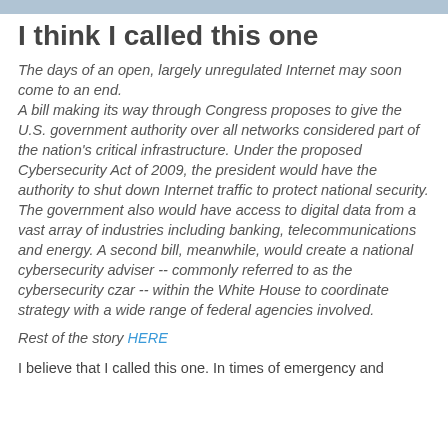I think I called this one
The days of an open, largely unregulated Internet may soon come to an end.
A bill making its way through Congress proposes to give the U.S. government authority over all networks considered part of the nation's critical infrastructure. Under the proposed Cybersecurity Act of 2009, the president would have the authority to shut down Internet traffic to protect national security.
The government also would have access to digital data from a vast array of industries including banking, telecommunications and energy. A second bill, meanwhile, would create a national cybersecurity adviser -- commonly referred to as the cybersecurity czar -- within the White House to coordinate strategy with a wide range of federal agencies involved.
Rest of the story HERE
I believe that I called this one. In times of emergency and